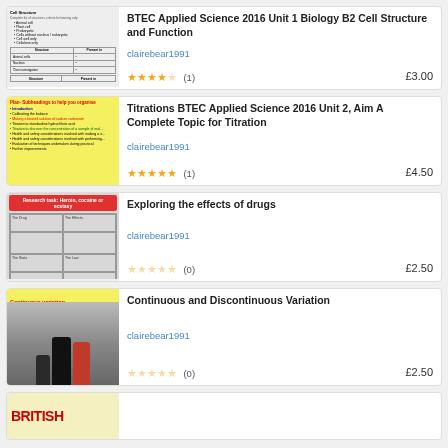[Figure (illustration): Thumbnail of a worksheet document with table]
BTEC Applied Science 2016 Unit 1 Biology B2 Cell Structure and Function
clairebear1991
★★★★☆ (1)  £3.00
[Figure (illustration): Yellow background lesson plan with subheadings in red, green, and blue text]
Titrations BTEC Applied Science 2016 Unit 2, Aim A Complete Topic for Titration
clairebear1991
★★★★★ (1)  £4.50
[Figure (illustration): Research task worksheet about heroin, cocaine or ecstasy with table grid]
Exploring the effects of drugs
clairebear1991
☆☆☆☆☆ (0)  £2.50
[Figure (illustration): Continuous variation label on yellow with photo of people showing height variation]
Continuous and Discontinuous Variation
clairebear1991
☆☆☆☆☆ (0)  £2.50
[Figure (illustration): Partial thumbnail at bottom, yellow background with red text starting BRITISH]